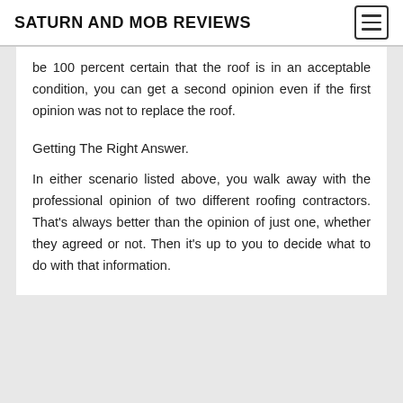SATURN AND MOB REVIEWS
be 100 percent certain that the roof is in an acceptable condition, you can get a second opinion even if the first opinion was not to replace the roof.
Getting The Right Answer.
In either scenario listed above, you walk away with the professional opinion of two different roofing contractors. That's always better than the opinion of just one, whether they agreed or not. Then it's up to you to decide what to do with that information.